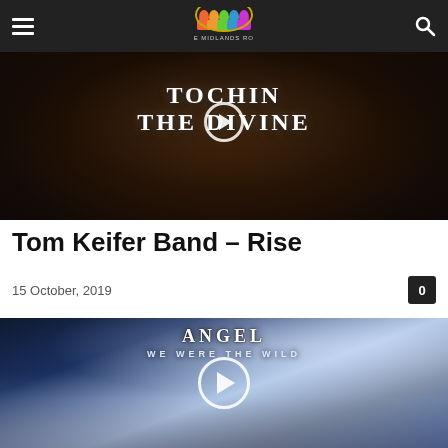The Midlands Rock
[Figure (screenshot): Video thumbnail for Tom Keifer Band – Rise, dark background with text 'Tochin The Divine' and a play button overlay]
Tom Keifer Band – Rise
15 October, 2019
[Figure (screenshot): Video thumbnail for Angel – We Were The Wild, showing five band members in white clothing with clouds and lightning in background, band name and album text overlaid, play button in center]